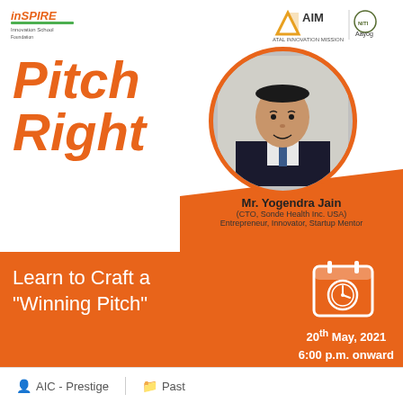[Figure (logo): inSPIRE Innovation School Foundation logo in top left]
[Figure (logo): Atal Innovation Mission (AIM) and NITI Aayog logos in top right]
Pitch Right
[Figure (photo): Circular photo of Mr. Yogendra Jain with orange border]
Mr. Yogendra Jain
(CTO, Sonde Health Inc. USA)
Entrepreneur, Innovator, Startup Mentor
Learn to Craft a "Winning Pitch"
[Figure (illustration): Calendar with clock icon in white on orange background]
20th May, 2021
6:00 p.m. onward
AIC - Prestige
Past